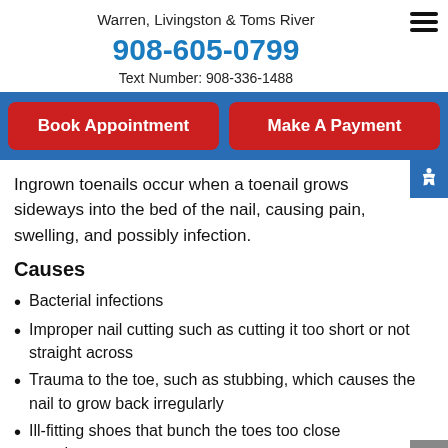Warren, Livingston & Toms River
908-605-0799
Text Number: 908-336-1488
Book Appointment
Make A Payment
Ingrown toenails occur when a toenail grows sideways into the bed of the nail, causing pain, swelling, and possibly infection.
Causes
Bacterial infections
Improper nail cutting such as cutting it too short or not straight across
Trauma to the toe, such as stubbing, which causes the nail to grow back irregularly
Ill-fitting shoes that bunch the toes too close together
Genetic predisposition